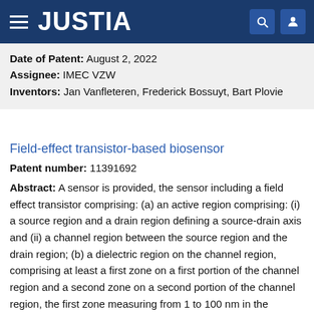JUSTIA
Date of Patent: August 2, 2022
Assignee: IMEC VZW
Inventors: Jan Vanfleteren, Frederick Bossuyt, Bart Plovie
Field-effect transistor-based biosensor
Patent number: 11391692
Abstract: A sensor is provided, the sensor including a field effect transistor comprising: (a) an active region comprising: (i) a source region and a drain region defining a source-drain axis and (ii) a channel region between the source region and the drain region; (b) a dielectric region on the channel region, comprising at least a first zone on a first portion of the channel region and a second zone on a second portion of the channel region, the first zone measuring from 1 to 100 nm in the